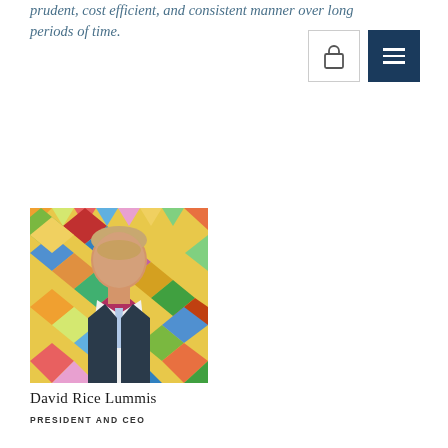prudent, cost efficient, and consistent manner over long periods of time.
[Figure (photo): Portrait photograph of David Rice Lummis, a man in a dark suit with a light blue tie, smiling, in front of a colorful diamond-pattern background artwork]
David Rice Lummis
PRESIDENT AND CEO